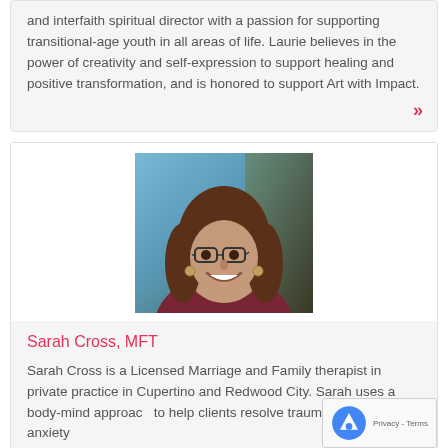and interfaith spiritual director with a passion for supporting transitional-age youth in all areas of life. Laurie believes in the power of creativity and self-expression to support healing and positive transformation, and is honored to support Art with Impact.
[Figure (photo): Headshot of Sarah Cross, MFT — a woman with long brown hair and glasses, smiling, wearing a burgundy top, against a blue and dark textured background.]
Sarah Cross, MFT
Sarah Cross is a Licensed Marriage and Family therapist in private practice in Cupertino and Redwood City. Sarah uses a body-mind approach to help clients resolve trauma related issues, anxiety